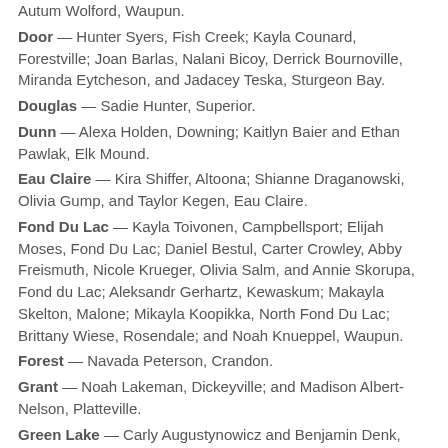Autum Wolford, Waupun.
Door — Hunter Syers, Fish Creek; Kayla Counard, Forestville; Joan Barlas, Nalani Bicoy, Derrick Bournoville, Miranda Eytcheson, and Jadacey Teska, Sturgeon Bay.
Douglas — Sadie Hunter, Superior.
Dunn — Alexa Holden, Downing; Kaitlyn Baier and Ethan Pawlak, Elk Mound.
Eau Claire — Kira Shiffer, Altoona; Shianne Draganowski, Olivia Gump, and Taylor Kegen, Eau Claire.
Fond Du Lac — Kayla Toivonen, Campbellsport; Elijah Moses, Fond Du Lac; Daniel Bestul, Carter Crowley, Abby Freismuth, Nicole Krueger, Olivia Salm, and Annie Skorupa, Fond du Lac; Aleksandr Gerhartz, Kewaskum; Makayla Skelton, Malone; Mikayla Koopikka, North Fond Du Lac; Brittany Wiese, Rosendale; and Noah Knueppel, Waupun.
Forest — Navada Peterson, Crandon.
Grant — Noah Lakeman, Dickeyville; and Madison Albert-Nelson, Platteville.
Green Lake — Carly Augustynowicz and Benjamin Denk,